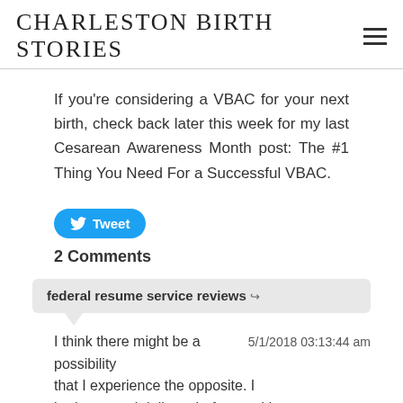CHARLESTON BIRTH STORIES
If you're considering a VBAC for your next birth, check back later this week for my last Cesarean Awareness Month post: The #1 Thing You Need For a Successful VBAC.
[Figure (other): Tweet button with Twitter bird icon]
2 Comments
federal resume service reviews →
I think there might be a possibility that I experience the opposite. I had a normal delivery before and I am afraid my second would be caesarian. I don't  5/1/2018 03:13:44 am